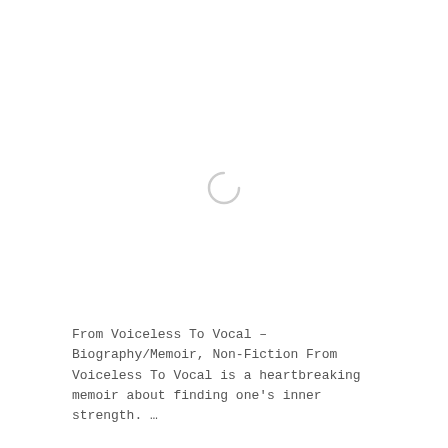[Figure (other): A loading spinner icon (circular arc, light gray) centered in the upper portion of the page]
From Voiceless To Vocal – Biography/Memoir, Non-Fiction From Voiceless To Vocal is a heartbreaking memoir about finding one's inner strength. …